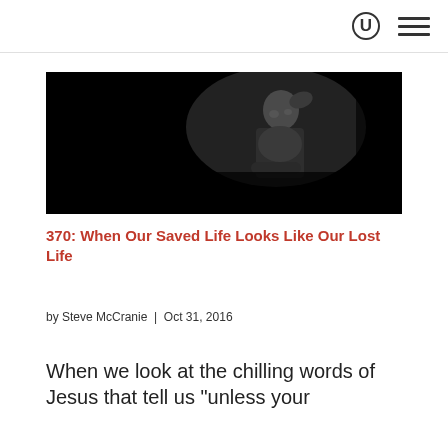[Figure (photo): A man in a dark setting with his hand raised to his head, appearing distressed or contemplative. The image is mostly dark with the subject lit from one side.]
370: When Our Saved Life Looks Like Our Lost Life
by Steve McCranie | Oct 31, 2016
When we look at the chilling words of Jesus that tell us "unless your